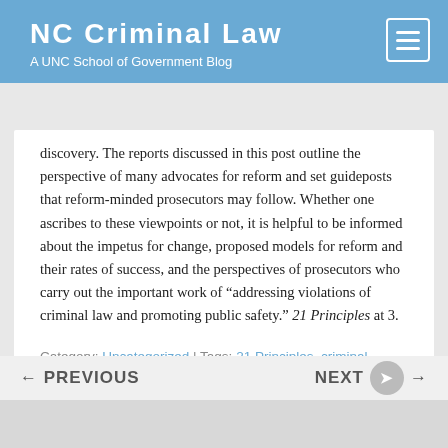NC Criminal Law — A UNC School of Government Blog
discovery. The reports discussed in this post outline the perspective of many advocates for reform and set guideposts that reform-minded prosecutors may follow. Whether one ascribes to these viewpoints or not, it is helpful to be informed about the impetus for change, proposed models for reform and their rates of success, and the perspectives of prosecutors who carry out the important work of "addressing violations of criminal law and promoting public safety." 21 Principles at 3.
Category: Uncategorized | Tags: 21 Principles, criminal justice reform, district attorney, prosecutor, Prosecutorial Attitudes, reports